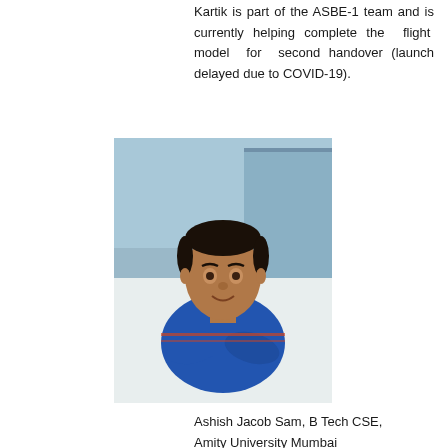Kartik is part of the ASBE-1 team and is currently helping complete the flight model for second handover (launch delayed due to COVID-19).
[Figure (photo): Portrait photo of Ashish Jacob Sam, a young man wearing a blue polo shirt with arms crossed, photographed indoors.]
Ashish Jacob Sam, B Tech CSE, Amity University Mumbai
Ashish is part of the ASBE-1 team and is currently helping complete the flight model for second handover (launch delayed due to COVID-19).